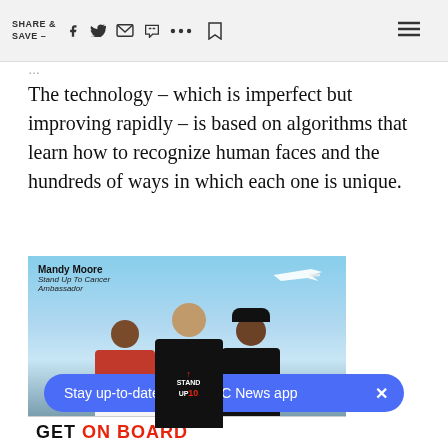SHARE & SAVE —
The technology – which is imperfect but improving rapidly – is based on algorithms that learn how to recognize human faces and the hundreds of ways in which each one is unique.
[Figure (photo): Advertisement photo showing Mandy Moore labeled as Stand Up To Cancer Ambassador, alongside two other people, with an airplane in the background and 'GET ON BOARD' text at the bottom.]
Stay up-to-date in the NBC News app